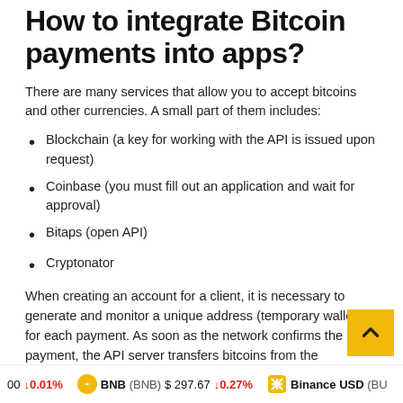How to integrate Bitcoin payments into apps?
There are many services that allow you to accept bitcoins and other currencies. A small part of them includes:
Blockchain (a key for working with the API is issued upon request)
Coinbase (you must fill out an application and wait for approval)
Bitaps (open API)
Cryptonator
When creating an account for a client, it is necessary to generate and monitor a unique address (temporary wallet) for each payment. As soon as the network confirms the payment, the API server transfers bitcoins from the temporary wallet to the specified wallet (your own or
00 ↓0.01%   BNB (BNB) $297.67 ↓0.27%   Binance USD (BU